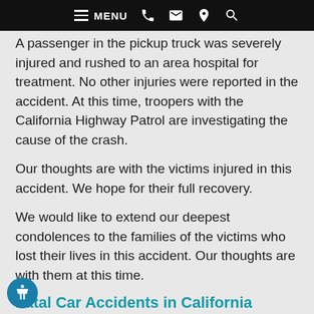MENU
A passenger in the pickup truck was severely injured and rushed to an area hospital for treatment. No other injuries were reported in the accident. At this time, troopers with the California Highway Patrol are investigating the cause of the crash.
Our thoughts are with the victims injured in this accident. We hope for their full recovery.
We would like to extend our deepest condolences to the families of the victims who lost their lives in this accident. Our thoughts are with them at this time.
Fatal Car Accidents in California
Car accidents throughout the state of California have an overwhelming impact on the lives of families. In fact, more than 150,000 people have their lives interrupted by accidents caused by negligent and reckless drivers throughout the state of California and below there are some statistics from accidents...